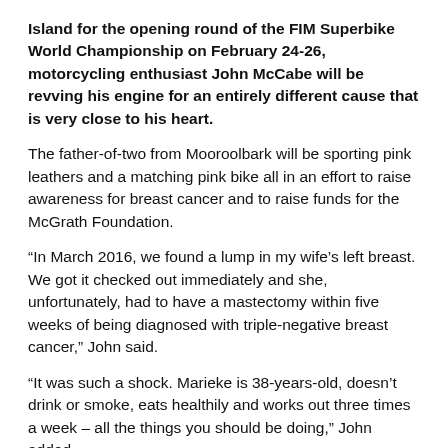Island for the opening round of the FIM Superbike World Championship on February 24-26, motorcycling enthusiast John McCabe will be revving his engine for an entirely different cause that is very close to his heart.
The father-of-two from Mooroolbark will be sporting pink leathers and a matching pink bike all in an effort to raise awareness for breast cancer and to raise funds for the McGrath Foundation.
“In March 2016, we found a lump in my wife’s left breast. We got it checked out immediately and she, unfortunately, had to have a mastectomy within five weeks of being diagnosed with triple-negative breast cancer,” John said.
“It was such a shock. Marieke is 38-years-old, doesn’t drink or smoke, eats healthily and works out three times a week – all the things you should be doing,” John added.
“After the mastectomy she had to have four months of chemotherapy followed by radiation therapy. Breast cancer is the gift that keeps on giving, but it’s not the gift you want,” he added. “So many have helped throughout this journey and we